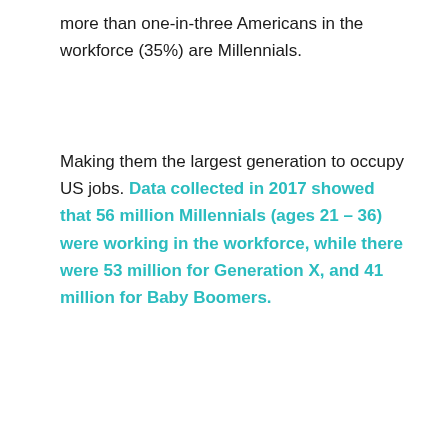more than one-in-three Americans in the workforce (35%) are Millennials.
Making them the largest generation to occupy US jobs. Data collected in 2017 showed that 56 million Millennials (ages 21 – 36) were working in the workforce, while there were 53 million for Generation X, and 41 million for Baby Boomers.